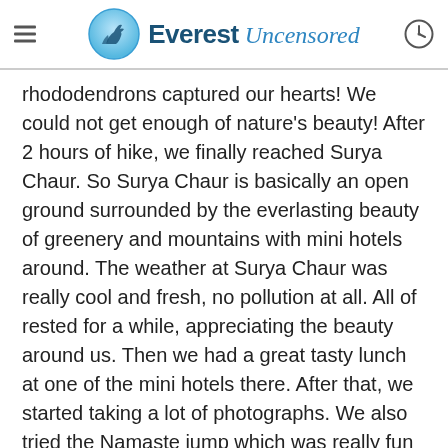Everest Uncensored
rhododendrons captured our hearts! We could not get enough of nature's beauty! After 2 hours of hike, we finally reached Surya Chaur. So Surya Chaur is basically an open ground surrounded by the everlasting beauty of greenery and mountains with mini hotels around. The weather at Surya Chaur was really cool and fresh, no pollution at all. All of rested for a while, appreciating the beauty around us. Then we had a great tasty lunch at one of the mini hotels there. After that, we started taking a lot of photographs. We also tried the Namaste jump which was really fun to do. There was a tower at Surya Chaur and I was really excited to climb.
With all my courage gathered up, I started climbing the tower. I was quite determined to